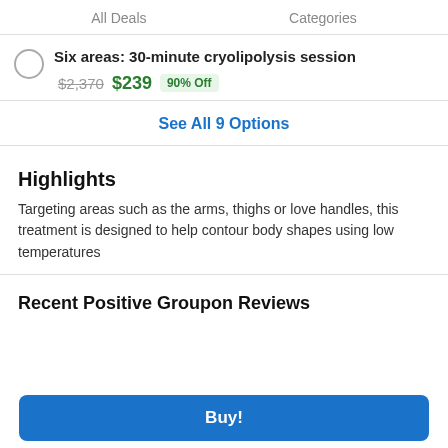All Deals    Categories
Six areas: 30-minute cryolipolysis session
$2,370  $239  90% Off
See All 9 Options
Highlights
Targeting areas such as the arms, thighs or love handles, this treatment is designed to help contour body shapes using low temperatures
Recent Positive Groupon Reviews
Buy!